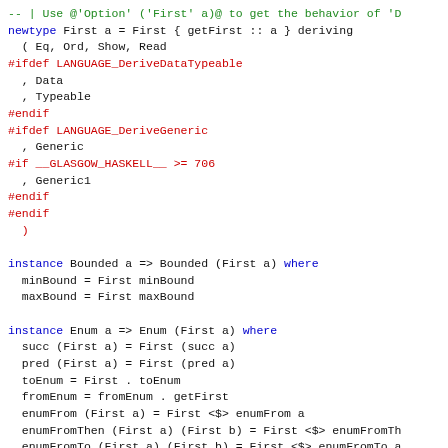Haskell source code snippet showing newtype First definition and instances for Bounded and Enum typeclasses, with preprocessor directives.